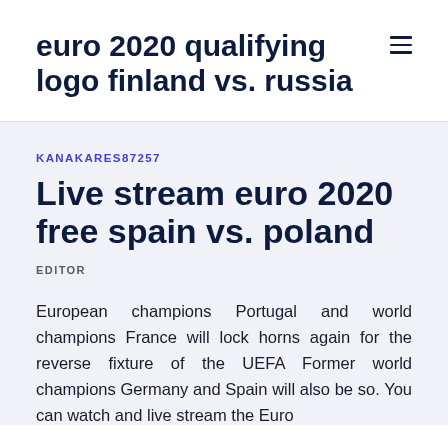euro 2020 qualifying logo finland vs. russia
KANAKARES87257
Live stream euro 2020 free spain vs. poland
EDITOR
European champions Portugal and world champions France will lock horns again for the reverse fixture of the UEFA Former world champions Germany and Spain will also be so. You can watch and live stream the Euro